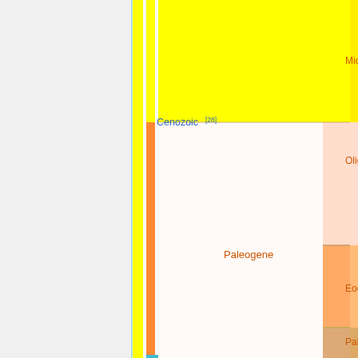[Figure (other): Geological time scale chart (cropped) showing Cenozoic era with subdivisions: Paleogene (with Oligocene, Eocene, Paleocene), and partial view of Miocene (Neogene). Colored nested rectangles represent eons, eras, periods, and epochs with yellow and orange-toned color coding.]